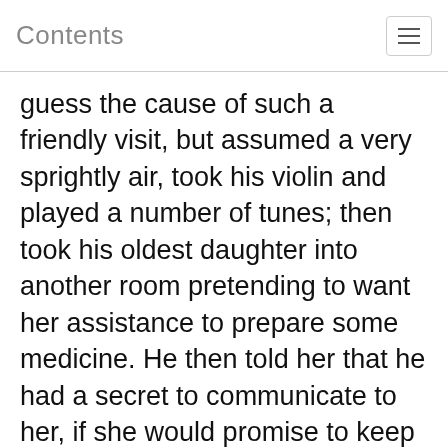Contents
guess the cause of such a friendly visit, but assumed a very sprightly air, took his violin and played a number of tunes; then took his oldest daughter into another room pretending to want her assistance to prepare some medicine. He then told her that he had a secret to communicate to her, if she would promise to keep it inviolate even from her mother, which she promised; he then told her the whole, and exhorted her by all means to appear cheerful. He then caused her to pack up some shirts and put the bundle out of a back window. Fortunately about dusk, a messenger called on him to visit a patient at some little distance. He told the messenger to return and that he would set off in a few minutes. The messenger returned, and